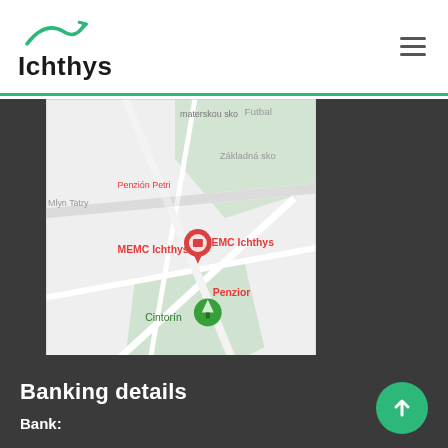Ichthys
[Figure (map): Google Maps screenshot showing location of MEMC Ichthys with surrounding area including Cintorin, Prokopic ACHUS - STOLARSTVO, Stolvex, Stredisko DIAK landmarks visible]
Banking details
Bank: